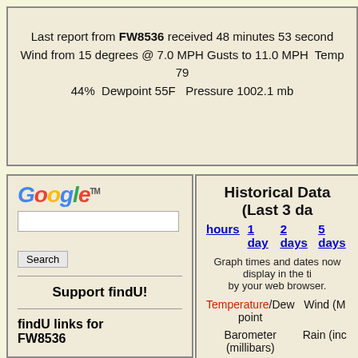Last report from FW8536 received 48 minutes 53 seconds ago. Wind from 15 degrees @ 7.0 MPH Gusts to 11.0 MPH Temp 79% 44% Dewpoint 55F Pressure 1002.1 mb
[Figure (logo): Google logo with trademark symbol]
Search
Support findU!
findU links for FW8536
- Display panel
Historical Data (Last 3 da
hours  1 day  2 days  5 days
Graph times and dates now display in the ti by your web browser.
Temperature/Dew point
Wind (M
Barometer (millibars)
Rain (inc
Rain displayed depe being sent from the s cumulative, last hou or since mi